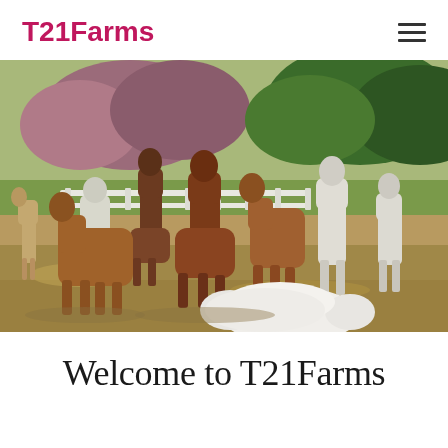T21Farms
[Figure (photo): A group of alpacas of various colors (brown, white) standing in a farm field with green and pink-leafed trees and a white wooden fence in the background. A large white fluffy dog is resting in the foreground.]
Welcome to T21Farms